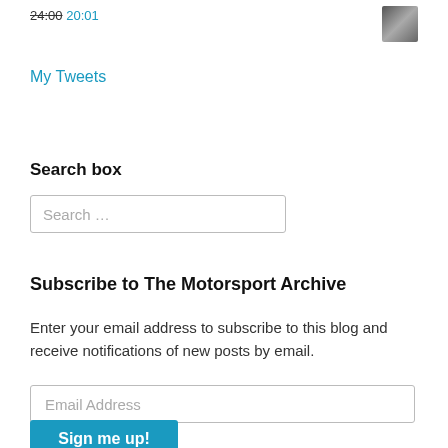24:00 20:01
My Tweets
Search box
Search …
Subscribe to The Motorsport Archive
Enter your email address to subscribe to this blog and receive notifications of new posts by email.
Email Address
Sign me up!